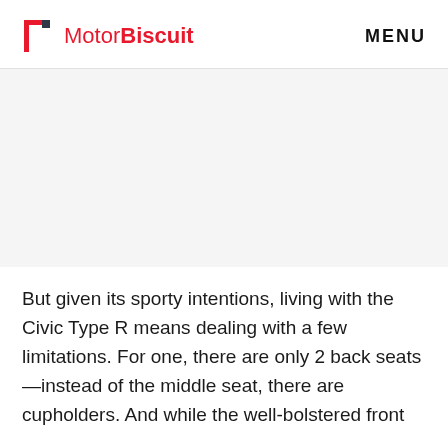MotorBiscuit   MENU
[Figure (photo): Large image placeholder area, appears blank/white in the screenshot]
But given its sporty intentions, living with the Civic Type R means dealing with a few limitations. For one, there are only 2 back seats —instead of the middle seat, there are cupholders. And while the well-bolstered front